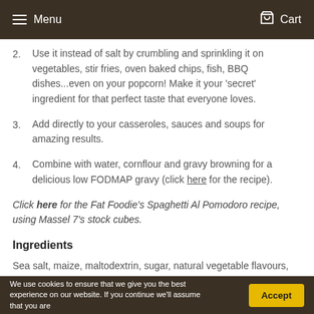Menu  Cart
2. Use it instead of salt by crumbling and sprinkling it on vegetables, stir fries, oven baked chips, fish, BBQ dishes...even on your popcorn! Make it your 'secret' ingredient for that perfect taste that everyone loves.
3. Add directly to your casseroles, sauces and soups for amazing results.
4. Combine with water, cornflour and gravy browning for a delicious low FODMAP gravy (click here for the recipe).
Click here for the Fat Foodie's Spaghetti Al Pomodoro recipe, using Massel 7's stock cubes.
Ingredients
Sea salt, maize, maltodextrin, sugar, natural vegetable flavours, yeast extract, dehydrated vegetables (celery spinach, bay leaf),
We use cookies to ensure that we give you the best experience on our website. If you continue we'll assume that you are  Accept